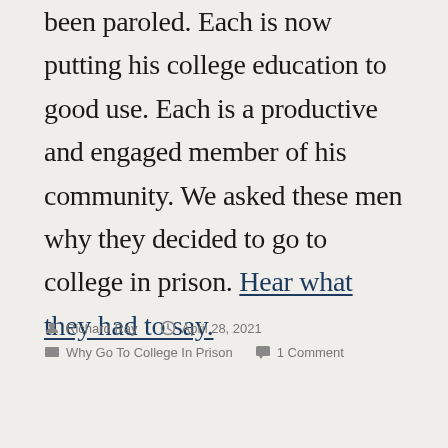been paroled. Each is now putting his college education to good use. Each is a productive and engaged member of his community. We asked these men why they decided to go to college in prison. Hear what they had to say.
Richard Ray  April 28, 2021  Why Go To College In Prison  1 Comment